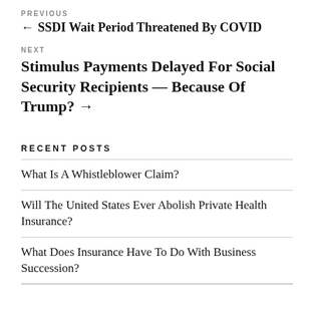PREVIOUS
← SSDI Wait Period Threatened By COVID
NEXT
Stimulus Payments Delayed For Social Security Recipients — Because Of Trump? →
RECENT POSTS
What Is A Whistleblower Claim?
Will The United States Ever Abolish Private Health Insurance?
What Does Insurance Have To Do With Business Succession?